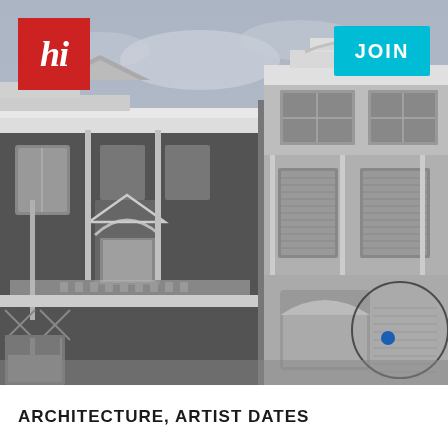[Figure (photo): Black and white photograph of Victorian-era building facades shot from below, showing ornate architectural details including decorative cornices, arched windows, columns, and detailed trim work. A circle with a blue dot is overlaid on the lower right portion.]
ARCHITECTURE, ARTIST DATES